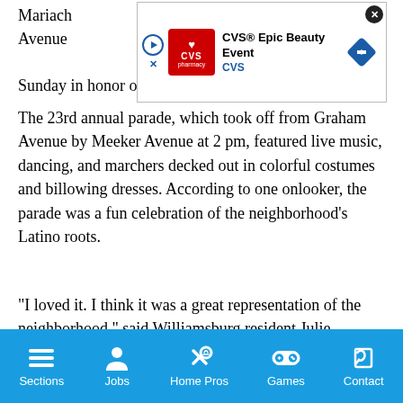Mariachi … Graham Avenue … on Sunday in honor of the beloved Catholic holiday.
[Figure (screenshot): CVS Epic Beauty Event advertisement banner with CVS pharmacy logo, play/close buttons, and navigation arrow diamond icon]
The 23rd annual parade, which took off from Graham Avenue by Meeker Avenue at 2 pm, featured live music, dancing, and marchers decked out in colorful costumes and billowing dresses. According to one onlooker, the parade was a fun celebration of the neighborhood's Latino roots.
“I loved it. I think it was a great representation of the neighborhood,” said Williamsburg resident Julie Verdugo, who attended the festivities with her sister, boyfriend, and dog after hearing the parade’s music from her home. “When I realized it was for Three Kings Day, I was very excited.”
Sections  Jobs  Home Pros  Games  Contact